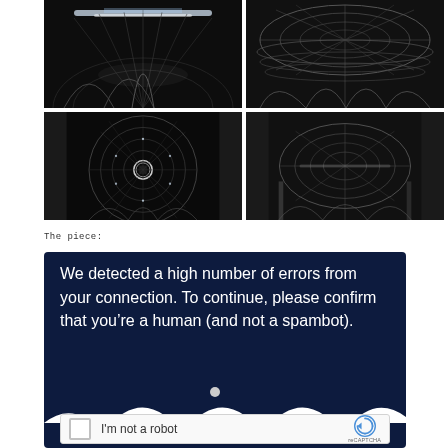[Figure (photo): 2x2 grid of four black and white architectural photographs showing a domed structure with illuminated lattice/geometric framework, viewed from different angles]
The piece:
[Figure (screenshot): reCAPTCHA dialog with dark blue background reading 'We detected a high number of errors from your connection. To continue, please confirm that you’re a human (and not a spambot).' with an 'I'm not a robot' checkbox widget below]